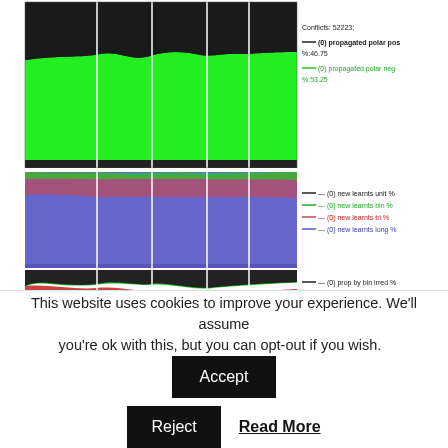[Figure (continuous-plot): Three stacked area charts showing: (1) top panel with black and green areas representing propagated polar pos/neg conflicts (Conflicts: 52223, (0) propagated polar pos %:46.75, (0) propagated polar neg %:53.25); (2) middle panel with multi-colored areas for new learnts unit/bin/tri/long percentages; (3) bottom panel showing prop by bin irred, bin red, tri, long irred, long red percentages. Vertical white lines divide the charts into time segments.]
These graphs can show quite a bit of data, the above must be a few hundred data points. The data gathered is pumped to an SQL database, and then visualized. I felt like I am on
This website uses cookies to improve your experience. We'll assume you're ok with this, but you can opt-out if you wish. Accept Reject Read More